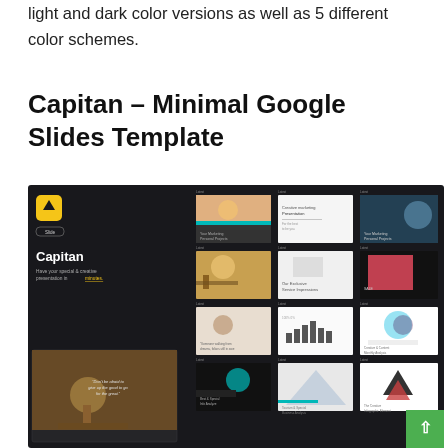light and dark color versions as well as 5 different color schemes.
Capitan – Minimal Google Slides Template
[Figure (screenshot): Screenshot of Capitan Google Slides Template showing a dark-themed presentation mockup with a grid of slide thumbnails, a logo, title text, and a laptop mockup overlay. A green scroll-up button is visible in the bottom right.]